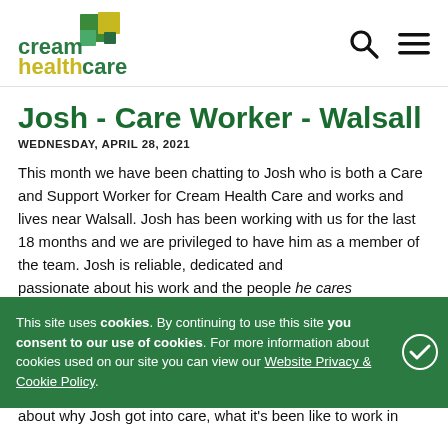[Figure (logo): Cream Health Care logo with coloured squares and green/yellow text]
Josh - Care Worker - Walsall
WEDNESDAY, APRIL 28, 2021
This month we have been chatting to Josh who is both a Care and Support Worker for Cream Health Care and works and lives near Walsall. Josh has been working with us for the last 18 months and we are privileged to have him as a member of the team. Josh is reliable, dedicated and passionate about his work and the people he cares for a vulnerable adults who need the supporting others to live as rewarding...
Angela ... chat with Josh about why Josh got into care, what it's been like to work in
This site uses cookies. By continuing to use this site you consent to our use of cookies. For more information about cookies used on our site you can view our Website Privacy & Cookie Policy.